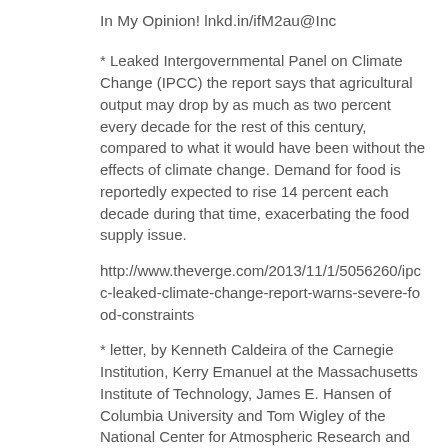In My Opinion! lnkd.in/ifM2au@Inc
* Leaked Intergovernmental Panel on Climate Change (IPCC) the report says that agricultural output may drop by as much as two percent every decade for the rest of this century, compared to what it would have been without the effects of climate change. Demand for food is reportedly expected to rise 14 percent each decade during that time, exacerbating the food supply issue.
http://www.theverge.com/2013/11/1/5056260/ipcc-leaked-climate-change-report-warns-severe-food-constraints
* letter, by Kenneth Caldeira of the Carnegie Institution, Kerry Emanuel at the Massachusetts Institute of Technology, James E. Hansen of Columbia University and Tom Wigley of the National Center for Atmospheric Research and the University of Adelaide
"To Those Influencing Environmental Policy But